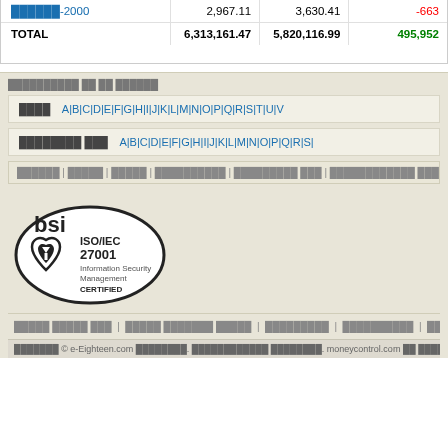|  |  |  |  |
| --- | --- | --- | --- |
| ██████-2000 | 2,967.11 | 3,630.41 | -663 |
| TOTAL | 6,313,161.47 | 5,820,116.99 | 495,952 |
██████████ ██ ██ ██████
████  A|B|C|D|E|F|G|H|I|J|K|L|M|N|O|P|Q|R|S|T|U|V
████████ ███  A|B|C|D|E|F|G|H|I|J|K|L|M|N|O|P|Q|R|S|
██████ | █████ | █████ | ██████████ | █████████ ███ | ████████████ ████████████ ██████ | ███ | ████████
[Figure (logo): BSI ISO/IEC 27001 Information Security Management CERTIFIED logo]
██████ █████ ███ | █████ ███████ █████ | █████████ | ██████████ | ██████████ ███ | ██████ ██ ██████ |
███████ © e-Eighteen.com ████████. ████████████ ████████. moneycontrol.com ██ █████-██████ ██ ███